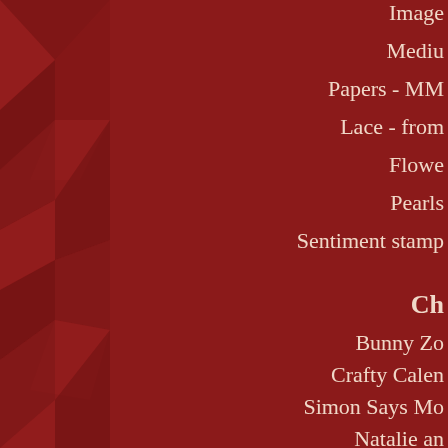Image
Mediu
Papers - MM
Lace - from
Flowe
Pearls
Sentiment stamp
Ch
Bunny Zo
Crafty Calen
Simon Says Mo
Natalie an
Penny Black
Penny Black and m
Fab 'n' F
Sister Act